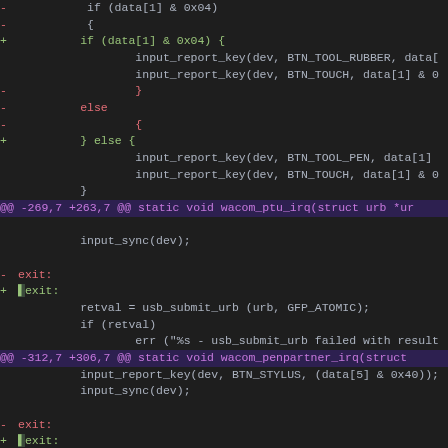Code diff showing modifications to wacom driver IRQ handlers in Linux kernel source
[Figure (screenshot): Syntax-highlighted unified diff of a C source file showing changes to wacom_ptu_irq, wacom_penpartner_irq, and wacom_graphire_irq functions. Red lines show removed code, green lines show added code, magenta lines show hunk headers.]